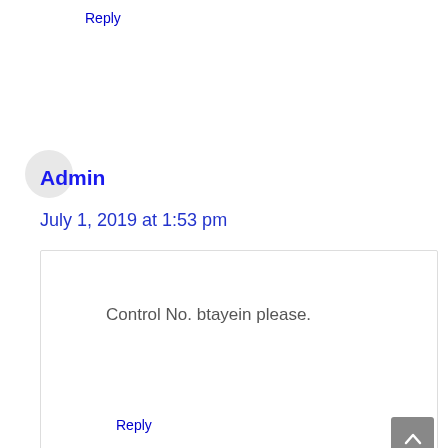Reply
Admin
July 1, 2019 at 1:53 pm
Control No. btayein please.
Reply